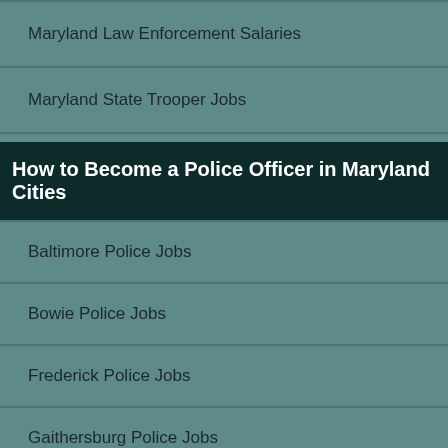Maryland Law Enforcement Salaries
Maryland State Trooper Jobs
How to Become a Police Officer in Maryland Cities
Baltimore Police Jobs
Bowie Police Jobs
Frederick Police Jobs
Gaithersburg Police Jobs
Rockville Police Jobs